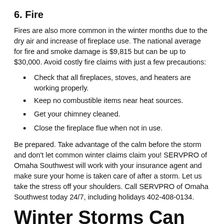6. Fire
Fires are also more common in the winter months due to the dry air and increase of fireplace use. The national average for fire and smoke damage is $9,815 but can be up to $30,000. Avoid costly fire claims with just a few precautions:
Check that all fireplaces, stoves, and heaters are working properly.
Keep no combustible items near heat sources.
Get your chimney cleaned.
Close the fireplace flue when not in use.
Be prepared. Take advantage of the calm before the storm and don't let common winter claims claim you! SERVPRO of Omaha Southwest will work with your insurance agent and make sure your home is taken care of after a storm. Let us take the stress off your shoulders. Call SERVPRO of Omaha Southwest today 24/7, including holidays 402-408-0134.
Winter Storms Can Cause Extensive